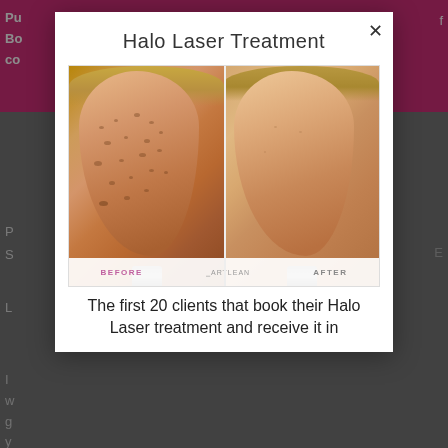Halo Laser Treatment
[Figure (photo): Before and after comparison photo of a woman's face showing results of Halo Laser Treatment. Left side labeled BEFORE shows skin with freckles/sun damage, right side labeled AFTER shows clearer, more even skin tone. ArtLaser branding at bottom center.]
The first 20 clients that book their Halo Laser treatment and receive it in